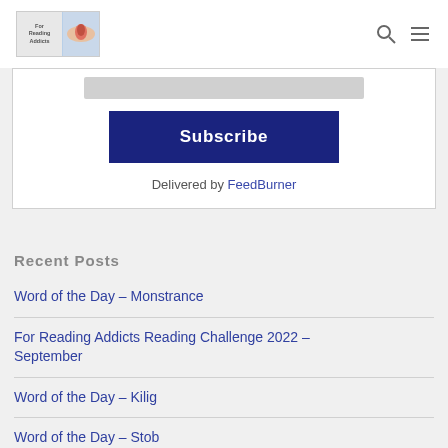For Reading Addicts
[Figure (logo): For Reading Addicts logo with book/eye imagery]
Subscribe
Delivered by FeedBurner
Recent Posts
Word of the Day – Monstrance
For Reading Addicts Reading Challenge 2022 – September
Word of the Day – Kilig
Word of the Day – Stob